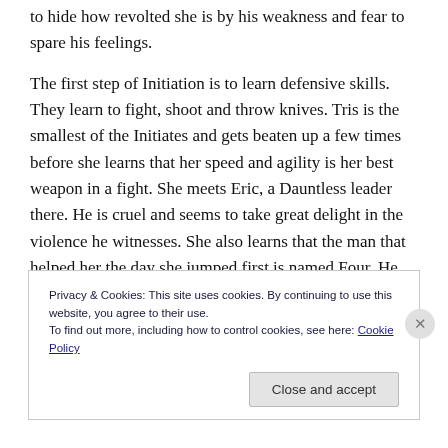to hide how revolted she is by his weakness and fear to spare his feelings.
The first step of Initiation is to learn defensive skills. They learn to fight, shoot and throw knives. Tris is the smallest of the Initiates and gets beaten up a few times before she learns that her speed and agility is her best weapon in a fight. She meets Eric, a Dauntless leader there. He is cruel and seems to take great delight in the violence he witnesses. She also learns that the man that helped her the day she jumped first is named Four. He also
Privacy & Cookies: This site uses cookies. By continuing to use this website, you agree to their use.
To find out more, including how to control cookies, see here: Cookie Policy
Close and accept